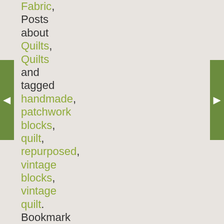Fabric, Posts about Quilts, Quilts and tagged handmade, patchwork blocks, quilt, repurposed, vintage blocks, vintage quilt. Bookmark the permalink.